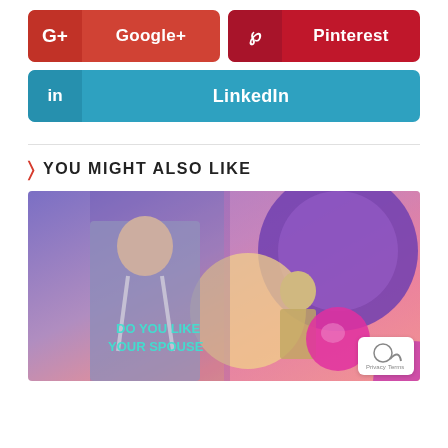[Figure (other): Google+ share button, red background with G+ icon and 'Google+' label]
[Figure (other): Pinterest share button, dark red background with Pinterest icon and 'Pinterest' label]
[Figure (other): LinkedIn share button, teal/blue background with 'in' icon and 'LinkedIn' label]
YOU MIGHT ALSO LIKE
[Figure (photo): Colorful promotional image with a man in suspenders, geometric shapes, gradient background, and text 'DO YOU LIKE YOUR SPOUSE']